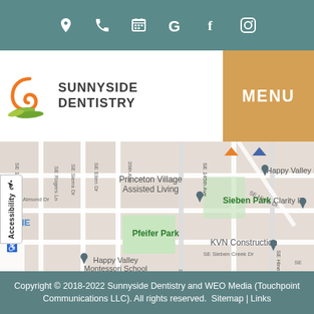Navigation icons: location, phone, calendar, Google, Facebook, Instagram
[Figure (logo): Sunnyside Dentistry logo with orange swirl and green leaf graphic]
SUNNYSIDE DENTISTRY
MENU
[Figure (map): Google Maps showing Happy Valley area with landmarks: Princeton Village Assisted Living, Happy Valley Library, Pfeifer Park, Sieben Park, Clarity IT, KVN Construction, Happy Valley Montessori School. Streets include SE 134th Ave, SE Ellen Dr, 39th Ave, SE 145th Ave, SE Almond Dr, SE Sieben Creek Dr, SE Hines Dr, SE 142nd.]
Copyright © 2018-2022 Sunnyside Dentistry and WEO Media (Touchpoint Communications LLC). All rights reserved.  Sitemap | Links